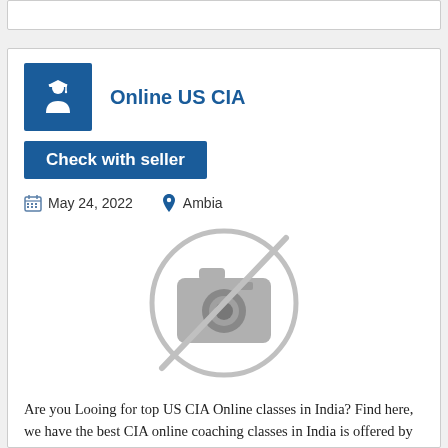Online US CIA
Check with seller
May 24, 2022   Ambia
[Figure (illustration): No photo available placeholder icon — a camera icon with a diagonal line through it inside a circle, rendered in grey.]
Are you Looing for top US CIA Online classes in India? Find here, we have the best CIA online coaching classes in India is offered by the best accounting institutes. 88VGLD is a Leading Live